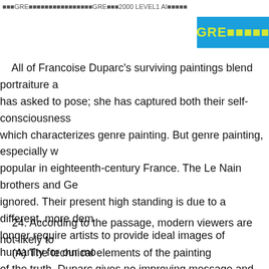GRE备考资料与GRE真题2000 LEVEL1 AI打印版
[Figure (logo): Blue GRE badge with yellow bold text 'GRE备考资料']
All of Francoise Duparc's surviving paintings blend portraiture a has asked to pose; she has captured both their self-consciousness which characterizes genre painting. But genre painting, especially w popular in eighteenth-century France. The Le Nain brothers and Ge ignored. Their present high standing is due to a different, more dem longer require artists to provide ideal images of humanity for our mo of the truth. Duparc gives no improving message and discreetly refra nor instruct. This restraint largely explains her lack of popular succe unrecognized by her eighteenth-century French contemporaries.
24. According to the passage, modern viewers are not likely to
(A) The technical elements of the painting